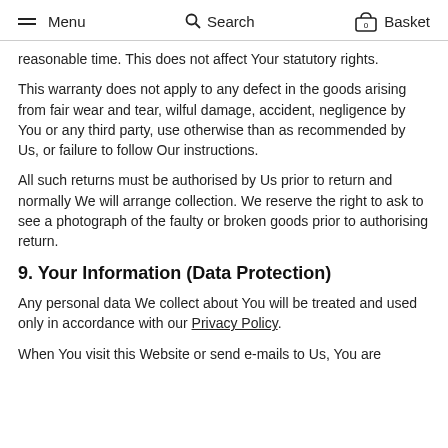Menu  Search  Basket
reasonable time. This does not affect Your statutory rights.
This warranty does not apply to any defect in the goods arising from fair wear and tear, wilful damage, accident, negligence by You or any third party, use otherwise than as recommended by Us, or failure to follow Our instructions.
All such returns must be authorised by Us prior to return and normally We will arrange collection. We reserve the right to ask to see a photograph of the faulty or broken goods prior to authorising return.
9. Your Information (Data Protection)
Any personal data We collect about You will be treated and used only in accordance with our Privacy Policy.
When You visit this Website or send e-mails to Us, You are